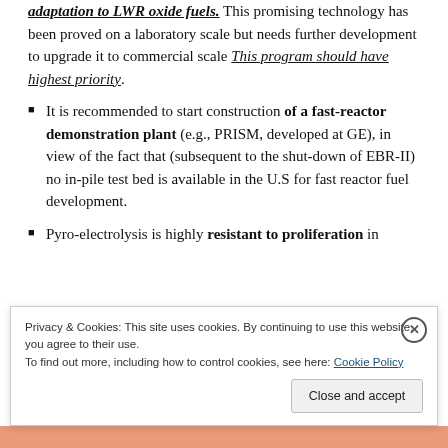adaptation to LWR oxide fuels. This promising technology has been proved on a laboratory scale but needs further development to upgrade it to commercial scale This program should have highest priority.
It is recommended to start construction of a fast-reactor demonstration plant (e.g., PRISM, developed at GE), in view of the fact that (subsequent to the shut-down of EBR-II) no in-pile test bed is available in the U.S for fast reactor fuel development.
Pyro-electrolysis is highly resistant to proliferation in
Privacy & Cookies: This site uses cookies. By continuing to use this website, you agree to their use.
To find out more, including how to control cookies, see here: Cookie Policy